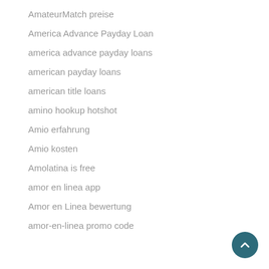AmateurMatch preise
America Advance Payday Loan
america advance payday loans
american payday loans
american title loans
amino hookup hotshot
Amio erfahrung
Amio kosten
Amolatina is free
amor en linea app
Amor en Linea bewertung
amor-en-linea promo code